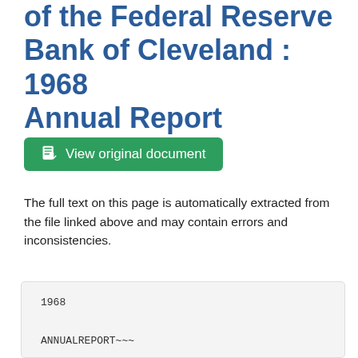of the Federal Reserve Bank of Cleveland : 1968 Annual Report
View original document
The full text on this page is automatically extracted from the file linked above and may contain errors and inconsistencies.
1968

ANNUALREPORT~~~

===

federal

reserve bank of cleveland